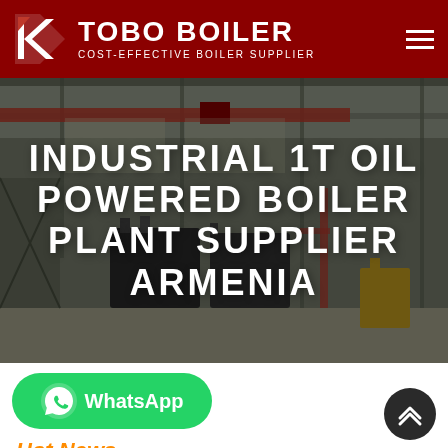[Figure (logo): Tobo Boiler logo with red background, white geometric icon on left, bold white text TOBO BOILER and subtitle COST-EFFECTIVE BOILER SUPPLIER, hamburger menu icon on right]
[Figure (photo): Industrial factory/warehouse interior showing boiler manufacturing equipment, overhead cranes, large industrial machinery in a wide facility with steel structure roof]
INDUSTRIAL 1T OIL POWERED BOILER PLANT SUPPLIER ARMENIA
[Figure (other): Green WhatsApp button with phone icon and WhatsApp label]
Hot News